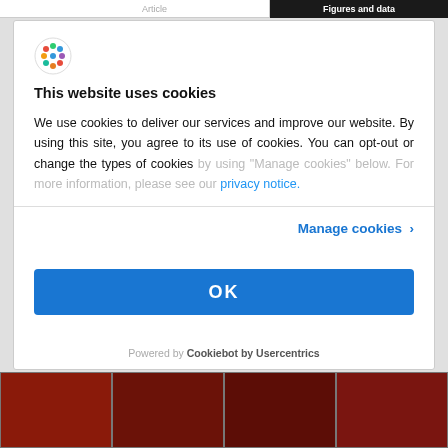Article | Figures and data
[Figure (logo): Colorful dot-grid circular logo]
This website uses cookies
We use cookies to deliver our services and improve our website. By using this site, you agree to its use of cookies. You can opt-out or change the types of cookies by using "Manage cookies" below. For more information, please see our privacy notice.
Manage cookies >
OK
Powered by Cookiebot by Usercentrics